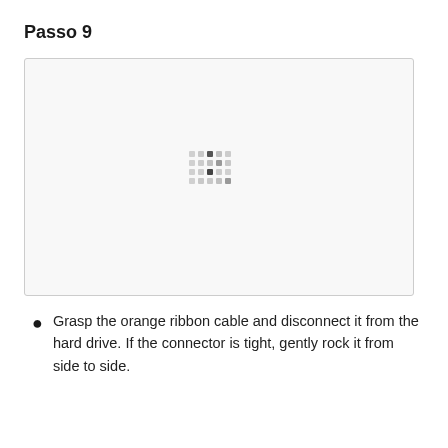Passo 9
[Figure (photo): A mostly blank image placeholder with a small loading/spinner icon (grid of dots) in the center, indicating an image that failed to load or is loading.]
Grasp the orange ribbon cable and disconnect it from the hard drive. If the connector is tight, gently rock it from side to side.